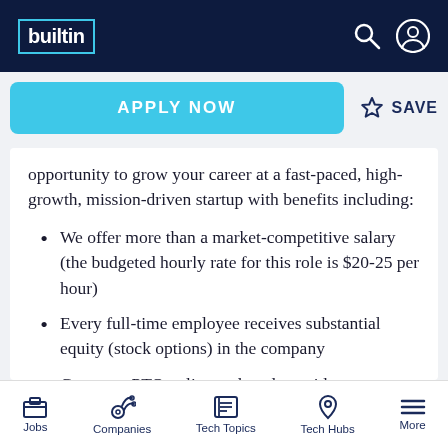builtin — navigation header with search and user icons
APPLY NOW  ☆ SAVE
opportunity to grow your career at a fast-paced, high-growth, mission-driven startup with benefits including:
We offer more than a market-competitive salary (the budgeted hourly rate for this role is $20-25 per hour)
Every full-time employee receives substantial equity (stock options) in the company
Generous PTO policy and twelve paid
Jobs  Companies  Tech Topics  Tech Hubs  More